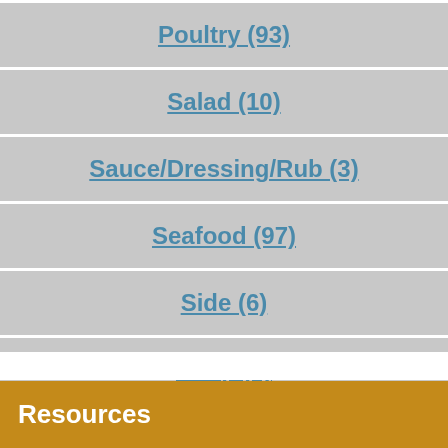Poultry (93)
Salad (10)
Sauce/Dressing/Rub (3)
Seafood (97)
Side (6)
Soup (8)
Vegetarian (19)
Resources